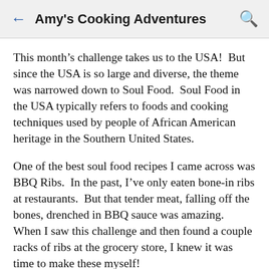← Amy's Cooking Adventures 🔍
This month's challenge takes us to the USA!  But since the USA is so large and diverse, the theme was narrowed down to Soul Food.  Soul Food in the USA typically refers to foods and cooking techniques used by people of African American heritage in the Southern United States.
One of the best soul food recipes I came across was BBQ Ribs.  In the past, I've only eaten bone-in ribs at restaurants.  But that tender meat, falling off the bones, drenched in BBQ sauce was amazing.  When I saw this challenge and then found a couple racks of ribs at the grocery store, I knew it was time to make these myself!
The recipe below is intense.  The flavors build and build as these ribs cook, with a dry rub, a baste/marinade, and a homemade BBQ sauce.  It is